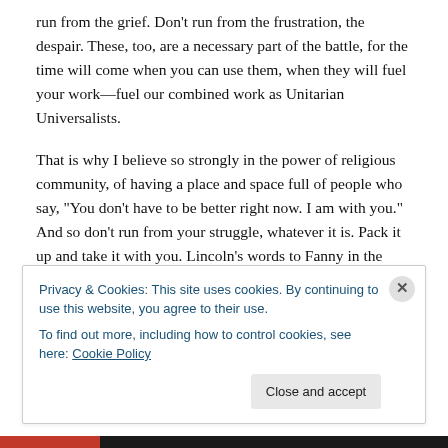run from the grief. Don't run from the frustration, the despair. These, too, are a necessary part of the battle, for the time will come when you can use them, when they will fuel your work—fuel our combined work as Unitarian Universalists.
That is why I believe so strongly in the power of religious community, of having a place and space full of people who say, “You don’t have to be better right now. I am with you.” And so don’t run from your struggle, whatever it is. Pack it up and take it with you. Lincoln’s words to Fanny in the
Privacy & Cookies: This site uses cookies. By continuing to use this website, you agree to their use.
To find out more, including how to control cookies, see here: Cookie Policy